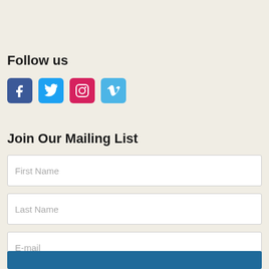Follow us
[Figure (infographic): Row of four social media icon buttons: Facebook (blue), Twitter (light blue), Instagram (pink/red), Vimeo (light blue)]
Join Our Mailing List
First Name
Last Name
E-mail